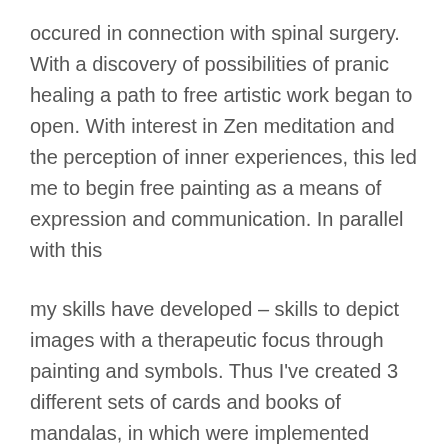occured in connection with spinal surgery. With a discovery of possibilities of pranic healing a path to free artistic work began to open. With interest in Zen meditation and the perception of inner experiences, this led me to begin free painting as a means of expression and communication. In parallel with this
my skills have developed – skills to depict images with a therapeutic focus through painting and symbols. Thus I've created 3 different sets of cards and books of mandalas, in which were implemented inspiring experiences of meditation journeys to sacred place in the Czech Republic, Ireland and England.